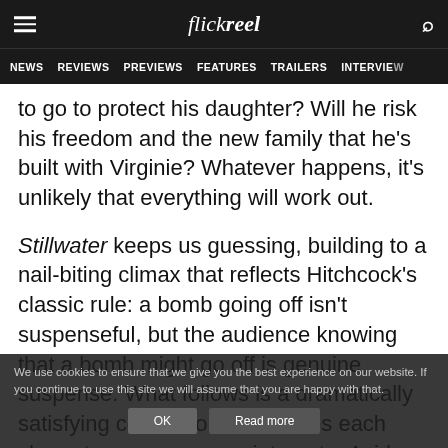flickreel
NEWS  REVIEWS  PREVIEWS  FEATURES  TRAILERS  INTERVIEWS
to go to protect his daughter? Will he risk his freedom and the new family that he's built with Virginie? Whatever happens, it's unlikely that everything will work out.
Stillwater keeps us guessing, building to a nail-biting climax that reflects Hitchcock's classic rule: a bomb going off isn't suspenseful, but the audience knowing that a bomb might go off is genuine suspense. What follows is a dramatically satisfying conclusion that leaves each character on an appropriate note. Aside from a few coincidences that feel a tad too convenient, the film is without any
We use cookies to ensure that we give you the best experience on our website. If you continue to use this site we will assume that you are happy with that.  OK  Read more